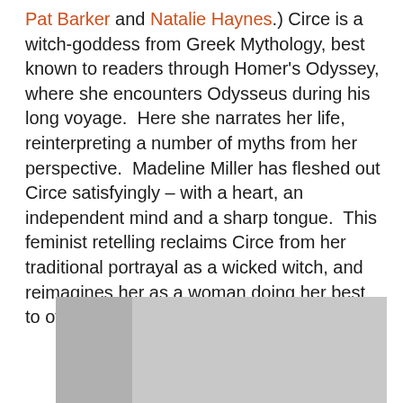Pat Barker and Natalie Haynes.) Circe is a witch-goddess from Greek Mythology, best known to readers through Homer's Odyssey, where she encounters Odysseus during his long voyage.  Here she narrates her life, reinterpreting a number of myths from her perspective.  Madeline Miller has fleshed out Circe satisfyingly – with a heart, an independent mind and a sharp tongue.  This feminist retelling reclaims Circe from her traditional portrayal as a wicked witch, and reimagines her as a woman doing her best to overcome the odds.
[Figure (photo): Partially visible image at bottom of page, showing a grey rectangular area with a darker grey column on the left side.]